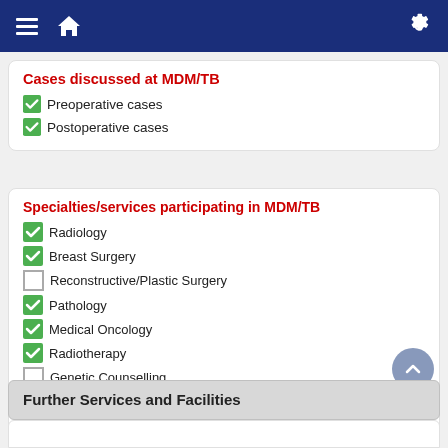Navigation bar with menu, home, and settings icons
Cases discussed at MDM/TB
✔ Preoperative cases
✔ Postoperative cases
Specialties/services participating in MDM/TB
✔ Radiology
✔ Breast Surgery
☐ Reconstructive/Plastic Surgery
✔ Pathology
✔ Medical Oncology
✔ Radiotherapy
☐ Genetic Counselling
✔ Breast Nurse Service
☐ Psycho-oncology
Further Services and Facilities